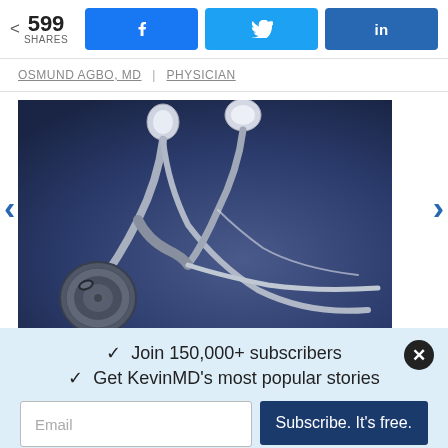599 SHARES
OSMUND AGBO, MD | PHYSICIAN
[Figure (photo): Close-up photograph of a stethoscope on a dark blue/grey surface, showing the chest piece and tubing in detail]
✓ Join 150,000+ subscribers
✓ Get KevinMD's most popular stories